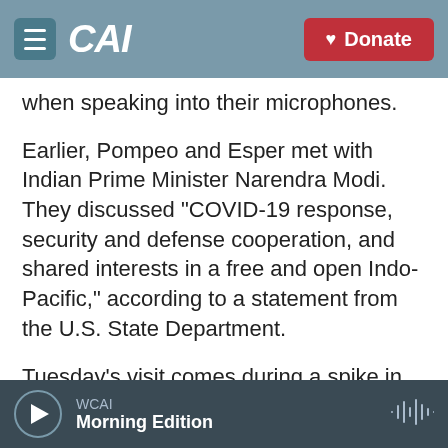CAI | Donate
when speaking into their microphones.
Earlier, Pompeo and Esper met with Indian Prime Minister Narendra Modi. They discussed "COVID-19 response, security and defense cooperation, and shared interests in a free and open Indo-Pacific," according to a statement from the U.S. State Department.
Tuesday's visit comes during a spike in tensions between India and China. The two countries share the world's longest unmarked border, stretching more than 2,000 miles and with much of it high in the Himalayas. Violence broke out between rival
WCAI
Morning Edition